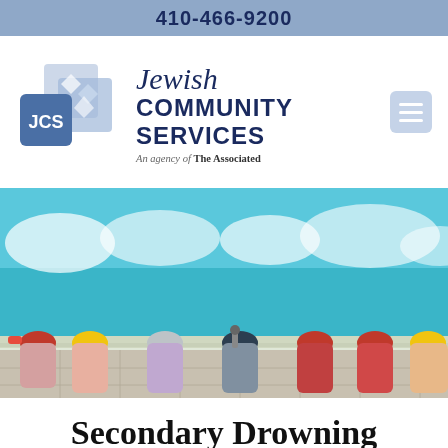410-466-9200
[Figure (logo): Jewish Community Services logo with JCS blue square icon and organization name. Tagline: An agency of The Associated]
[Figure (photo): Overhead view of six children in colorful swim caps leaning over the edge of a swimming pool, feet kicking in the water]
Secondary Drowning